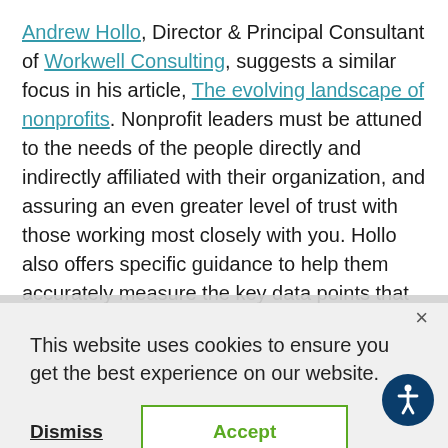Andrew Hollo, Director & Principal Consultant of Workwell Consulting, suggests a similar focus in his article, The evolving landscape of nonprofits. Nonprofit leaders must be attuned to the needs of the people directly and indirectly affiliated with their organization, and assuring an even greater level of trust with those working most closely with you. Hollo also offers specific guidance to help them accurately measure the key data points that should be measured.
This website uses cookies to ensure you get the best experience on our website.
Dismiss   Accept